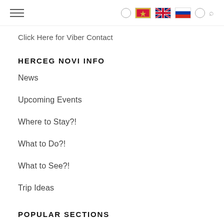Navigation header with hamburger menu and language flags (Montenegro, UK, Russia)
Click Here for Viber Contact
HERCEG NOVI INFO
News
Upcoming Events
Where to Stay?!
What to Do?!
What to See?!
Trip Ideas
POPULAR SECTIONS
Hotels